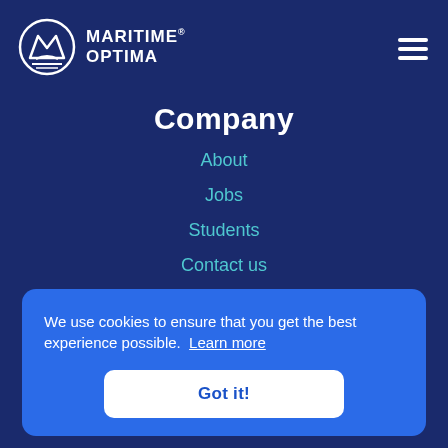[Figure (logo): Maritime Optima logo: circular emblem with stylized M and wave, plus text MARITIME OPTIMA with registered trademark symbol]
Company
About
Jobs
Students
Contact us
We use cookies to ensure that you get the best experience possible.  Learn more
Got it!